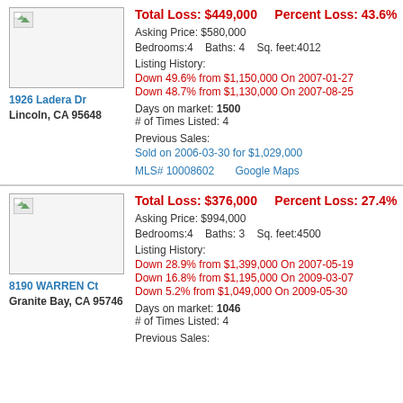Total Loss: $449,000   Percent Loss: 43.6%
Asking Price: $580,000
Bedrooms:4   Baths: 4   Sq. feet:4012
Listing History:
Down 49.6% from $1,150,000 On 2007-01-27
Down 48.7% from $1,130,000 On 2007-08-25
Days on market: 1500
# of Times Listed: 4
Previous Sales:
Sold on 2006-03-30 for $1,029,000
MLS# 10008602   Google Maps
1926 Ladera Dr
Lincoln, CA 95648
Total Loss: $376,000   Percent Loss: 27.4%
Asking Price: $994,000
Bedrooms:4   Baths: 3   Sq. feet:4500
Listing History:
Down 28.9% from $1,399,000 On 2007-05-19
Down 16.8% from $1,195,000 On 2009-03-07
Down 5.2% from $1,049,000 On 2009-05-30
Days on market: 1046
# of Times Listed: 4
Previous Sales:
8190 WARREN Ct
Granite Bay, CA 95746